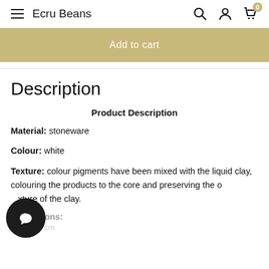Ecru Beans
Add to cart
Description
Product Description
Material: stoneware
Colour: white
Texture: colour pigments have been mixed with the liquid clay, colouring the products to the core and preserving the original texture of the clay.
Dimensions:
height: 6 cm